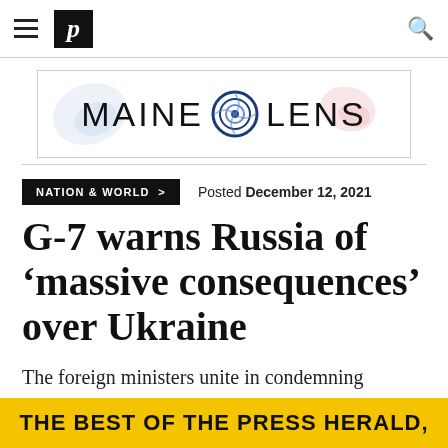P (Portland Press Herald logo) | navigation bar
[Figure (logo): Maine Lens advertisement banner with circular lens graphic between the words MAINE and LENS]
NATION & WORLD > | Posted December 12, 2021
G-7 warns Russia of 'massive consequences' over Ukraine
The foreign ministers unite in condemning Moscow's military build-up and aggressive
THE BEST OF THE PRESS HERALD,